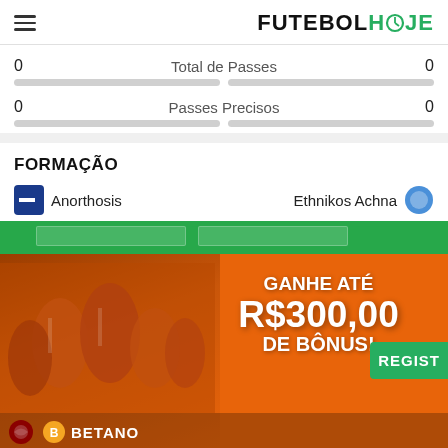FUTEBOLHOJE
0   Total de Passes   0
0   Passes Precisos   0
FORMAÇÃO
Anorthosis   Ethnikos Achna
[Figure (screenshot): Orange advertisement banner for Betano betting site showing football players, text 'GANHE ATÉ R$300,00 DE BÔNUS!' with a green REGIST button and Fluminense/Betano logos at the bottom.]